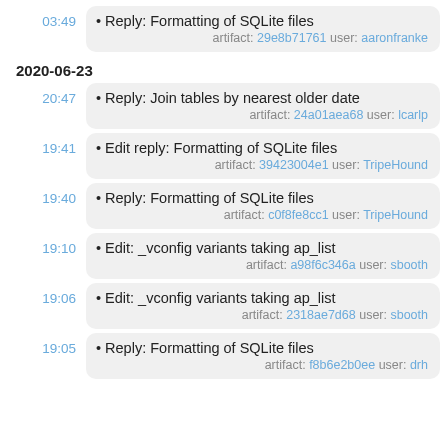03:49 • Reply: Formatting of SQLite files artifact: 29e8b71761 user: aaronfranke
2020-06-23
20:47 • Reply: Join tables by nearest older date artifact: 24a01aea68 user: lcarlp
19:41 • Edit reply: Formatting of SQLite files artifact: 39423004e1 user: TripeHound
19:40 • Reply: Formatting of SQLite files artifact: c0f8fe8cc1 user: TripeHound
19:10 • Edit: _vconfig variants taking ap_list artifact: a98f6c346a user: sbooth
19:06 • Edit: _vconfig variants taking ap_list artifact: 2318ae7d68 user: sbooth
19:05 • Reply: Formatting of SQLite files artifact: f8b6e2b0ee user: drh